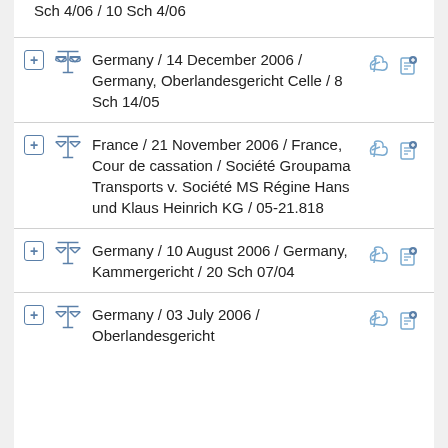Sch 4/06 / 10 Sch 4/06
Germany / 14 December 2006 / Germany, Oberlandesgericht Celle / 8 Sch 14/05
France / 21 November 2006 / France, Cour de cassation / Société Groupama Transports v. Société MS Régine Hans und Klaus Heinrich KG / 05-21.818
Germany / 10 August 2006 / Germany, Kammergericht / 20 Sch 07/04
Germany / 03 July 2006 / Oberlandesgericht